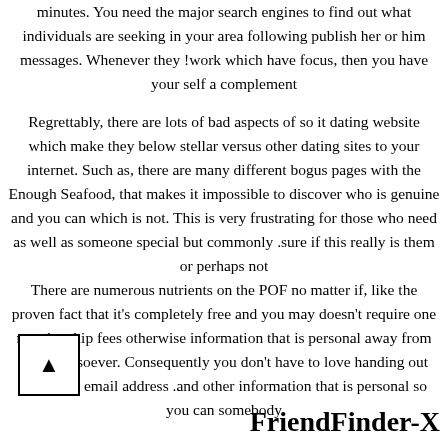minutes. You need the major search engines to find out what individuals are seeking in your area following publish her or him messages. Whenever they !work which have focus, then you have your self a complement
Regrettably, there are lots of bad aspects of so it dating website which make they below stellar versus other dating sites to your internet. Such as, there are many different bogus pages with the Enough Seafood, that makes it impossible to discover who is genuine and you can which is not. This is very frustrating for those who need as well as someone special but commonly .sure if this really is them or perhaps not
There are numerous nutrients on the POF no matter if, like the proven fact that it's completely free and you may doesn't require one membership fees otherwise information that is personal away from you whatsoever. Consequently you don't have to love handing out your own email address .and other information that is personal so you can somebody
FriendFinder-X